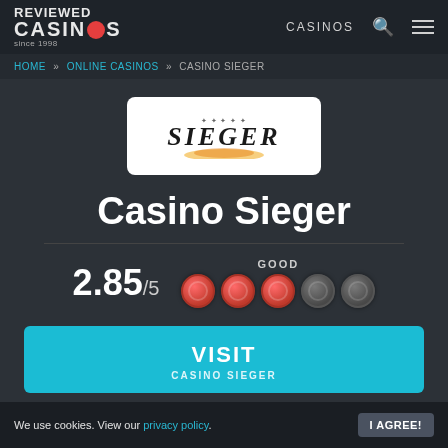Reviewed Casinos since 1998 | CASINOS
HOME » ONLINE CASINOS » CASINO SIEGER
[Figure (logo): Casino Sieger logo: stylized 'SIEGER' text in dark metallic font with orange flame effect on white background]
Casino Sieger
2.85/5 GOOD — 3 filled chips, 2 empty chips
VISIT CASINO SIEGER
We use cookies. View our privacy policy. I AGREE!